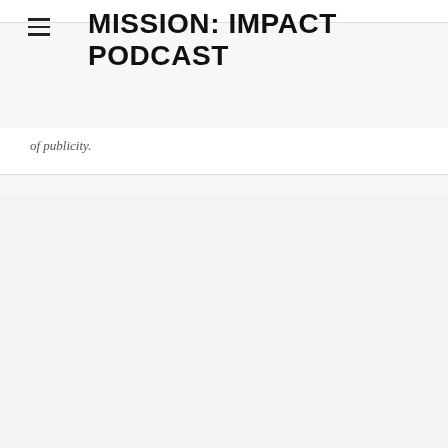MISSION: IMPACT PODCAST
of publicity.